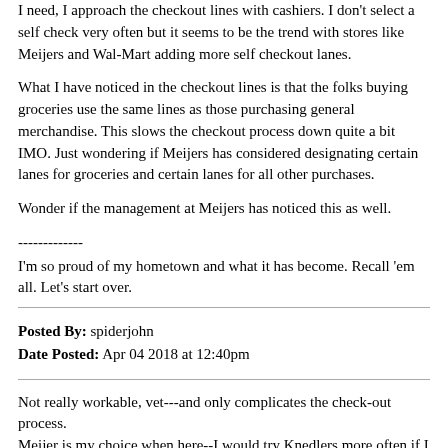I need, I approach the checkout lines with cashiers. I don't select a self check very often but it seems to be the trend with stores like Meijers and Wal-Mart adding more self checkout lanes.
What I have noticed in the checkout lines is that the folks buying groceries use the same lines as those purchasing general merchandise. This slows the checkout process down quite a bit IMO. Just wondering if Meijers has considered designating certain lanes for groceries and certain lanes for all other purchases.
Wonder if the management at Meijers has noticed this as well.
-------------
I'm so proud of my hometown and what it has become. Recall 'em all. Let's start over.
Posted By: spiderjohn
Date Posted: Apr 04 2018 at 12:40pm
Not really workable, vet---and only complicates the check-out process.
Meijer is my choice when here--I would try Knedlers more often if I was here more time--meat dept is very good. Not impressed